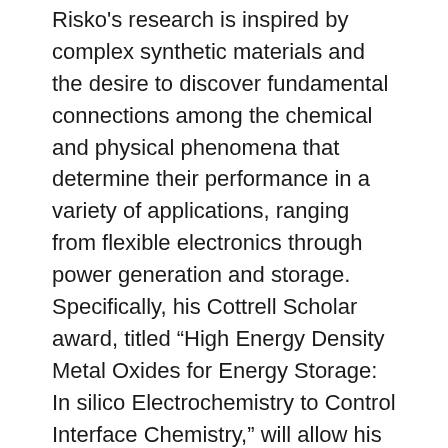Risko's research is inspired by complex synthetic materials and the desire to discover fundamental connections among the chemical and physical phenomena that determine their performance in a variety of applications, ranging from flexible electronics through power generation and storage. Specifically, his Cottrell Scholar award, titled “High Energy Density Metal Oxides for Energy Storage: In silico Electrochemistry to Control Interface Chemistry,” will allow his group to expand their theoretical and computational chemistry studies of critical chemical reactions that take place in batteries.
“Advances in battery technologies have revolutionized how we communicate with each other, the information that we have at our fingertips, the types of energy sources that we use, and, increasingly, how we move from place to place,” Risko said. “Our aim with this project is to develop novel computational approaches